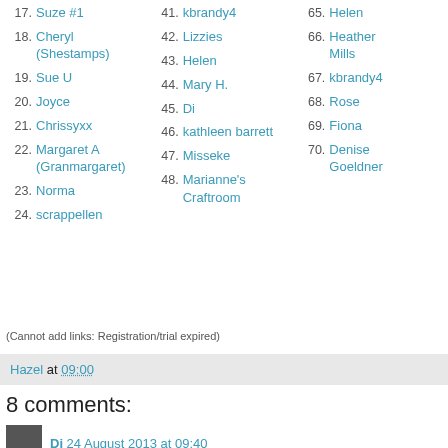17. Suze #1
18. Cheryl (Shestamps)
19. Sue U
20. Joyce
21. Chrissyxx
22. Margaret A (Granmargaret)
23. Norma
24. scrappellen
41. kbrandy4
42. Lizzies
43. Helen
44. Mary H.
45. Di
46. kathleen barrett
47. Misseke
48. Marianne's Craftroom
65. Helen
66. Heather Mills
67. kbrandy4
68. Rose
69. Fiona
70. Denise Goeldner
(Cannot add links: Registration/trial expired)
Hazel at 09:00
8 comments:
Di 24 August 2013 at 09:40